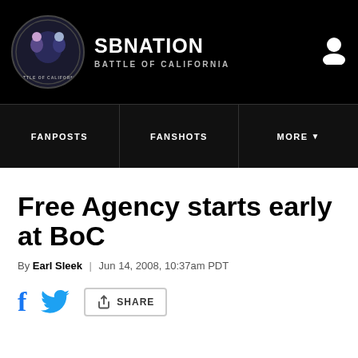SBNATION BATTLE OF CALIFORNIA
[Figure (logo): SBNation Battle of California circular logo with illustrated characters]
Free Agency starts early at BoC
By Earl Sleek | Jun 14, 2008, 10:37am PDT
SHARE (Facebook, Twitter, Share button)